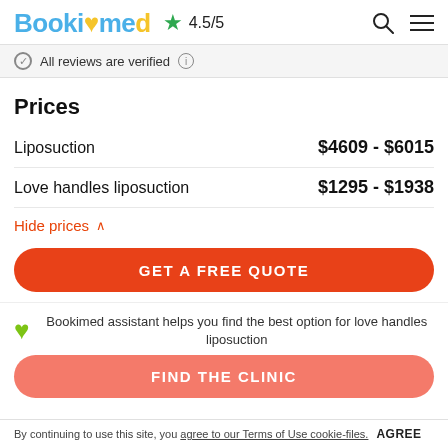Bookimed ★ 4.5/5
All reviews are verified ℹ
Prices
| Procedure | Price Range |
| --- | --- |
| Liposuction | $4609 - $6015 |
| Love handles liposuction | $1295 - $1938 |
Hide prices ∧
GET A FREE QUOTE
Bookimed assistant helps you find the best option for love handles liposuction
FIND THE CLINIC
By continuing to use this site, you agree to our Terms of Use cookie-files. AGREE